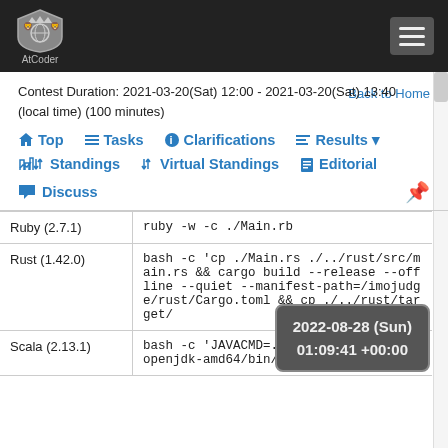AtCoder
Contest Duration: 2021-03-20(Sat) 12:00 - 2021-03-20(Sat) 13:40 (local time) (100 minutes)
Back to Home
Top  Tasks  Clarifications  Results  Standings  Virtual Standings  Editorial  Discuss
| Language | Command |
| --- | --- |
| Ruby (2.7.1) | ruby -w -c ./Main.rb |
| Rust (1.42.0) | bash -c 'cp ./Main.rs ./../rust/src/main.rs && cargo build --release --offline --quiet --manifest-path=/imojudge/rust/Cargo.toml && cp ./../rust/target/ |
| Scala (2.13.1) | bash -c 'JAVACMD=...openjdk-amd64/bin/java... |
2022-08-28 (Sun) 01:09:41 +00:00